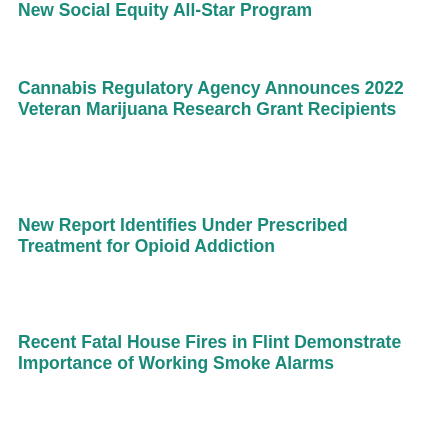New Social Equity All-Star Program
Cannabis Regulatory Agency Announces 2022 Veteran Marijuana Research Grant Recipients
New Report Identifies Under Prescribed Treatment for Opioid Addiction
Recent Fatal House Fires in Flint Demonstrate Importance of Working Smoke Alarms